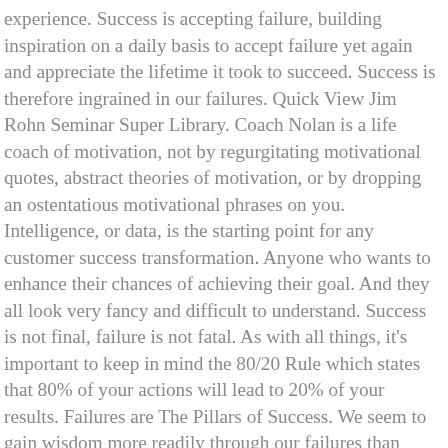experience. Success is accepting failure, building inspiration on a daily basis to accept failure yet again and appreciate the lifetime it took to succeed. Success is therefore ingrained in our failures. Quick View Jim Rohn Seminar Super Library. Coach Nolan is a life coach of motivation, not by regurgitating motivational quotes, abstract theories of motivation, or by dropping an ostentatious motivational phrases on you. Intelligence, or data, is the starting point for any customer success transformation. Anyone who wants to enhance their chances of achieving their goal. And they all look very fancy and difficult to understand. Success is not final, failure is not fatal. As with all things, it's important to keep in mind the 80/20 Rule which states that 80% of your actions will lead to 20% of your results. Failures are The Pillars of Success. We seem to gain wisdom more readily through our failures than through our successes. Anyone working towards an ambitious goal. Failure should make you more determined to your cause. Only failure teaches man to be hardworking and persevering. Welcome back. What if they don't show up? It's ... The purpose of our book is to give God glory and to give people hope. Inspirational Pillars explores the achievements, experiences, great work, and wisdom of great personalities, and share their inspirational thoughts. What is success? Self-development requires